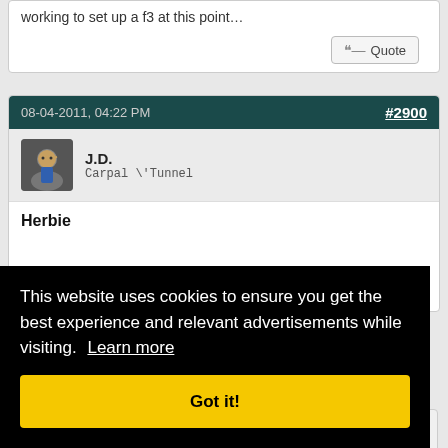working to set up a f3 at this point…
Quote (button)
08-04-2011, 04:22 PM
#2900
J.D.
Carpal \'Tunnel
Herbie
Quote (button)
This website uses cookies to ensure you get the best experience and relevant advertisements while visiting. Learn more
Got it!